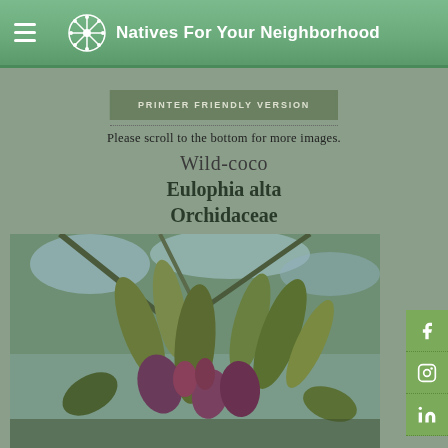Natives For Your Neighborhood
PRINTER FRIENDLY VERSION
Please scroll to the bottom for more images.
Wild-coco
Eulophia alta
Orchidaceae
[Figure (photo): Close-up photograph of Eulophia alta (Wild-coco) orchid flowers showing green and dark reddish-purple petals and buds against a background of trees and sky]